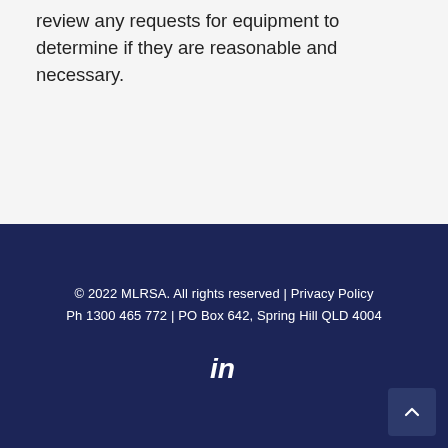review any requests for equipment to determine if they are reasonable and necessary.
© 2022 MLRSA. All rights reserved | Privacy Policy
Ph 1300 465 772 | PO Box 642, Spring Hill QLD 4004